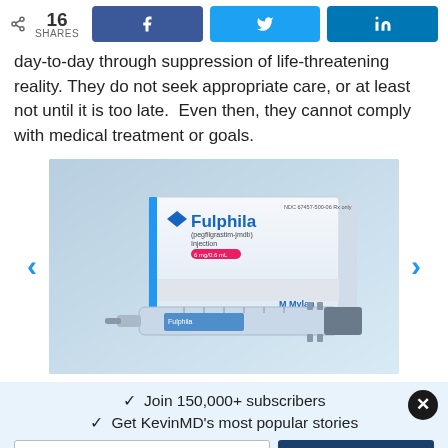16 SHARES | Facebook share | Twitter share | LinkedIn share
day-to-day through suppression of life-threatening reality. They do not seek appropriate care, or at least not until it is too late. Even then, they cannot comply with medical treatment or goals.
[Figure (photo): Photo of Fulphila (pegfilgrastim-jmdb) Injection 6mg/0.6mL drug box and prefilled syringe by Mylan]
Join 150,000+ subscribers
Get KevinMD's most popular stories
Email | Subscribe. It's free.